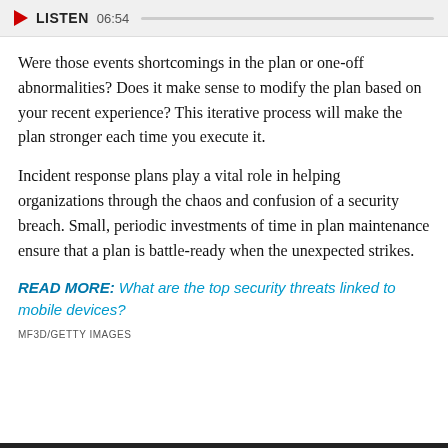[Figure (other): Audio player bar showing a red play triangle, bold LISTEN label, timestamp 06:54, and a grey progress bar]
Were those events shortcomings in the plan or one-off abnormalities? Does it make sense to modify the plan based on your recent experience? This iterative process will make the plan stronger each time you execute it.
Incident response plans play a vital role in helping organizations through the chaos and confusion of a security breach. Small, periodic investments of time in plan maintenance ensure that a plan is battle-ready when the unexpected strikes.
READ MORE: What are the top security threats linked to mobile devices?
MF3D/GETTY IMAGES